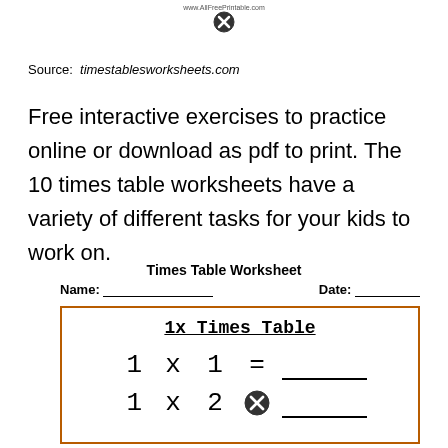www.AllFreePrintable.com
Source: timestablesworksheets.com
Free interactive exercises to practice online or download as pdf to print. The 10 times table worksheets have a variety of different tasks for your kids to work on.
Times Table Worksheet
Name: ___________________ Date: ________
| 1x Times Table |
| --- |
| 1 x 1 = ___ |
| 1 x 2 = ___ |